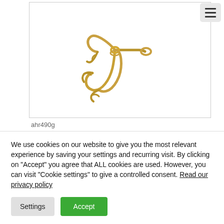[Figure (photo): Gold treble fishing hook on white background inside a bordered rectangle]
ahr490g
We use cookies on our website to give you the most relevant experience by saving your settings and recurring visit. By clicking on "Accept" you agree that ALL cookies are used. However, you can visit "Cookie settings" to give a controlled consent. Read our privacy policy
Settings
Accept